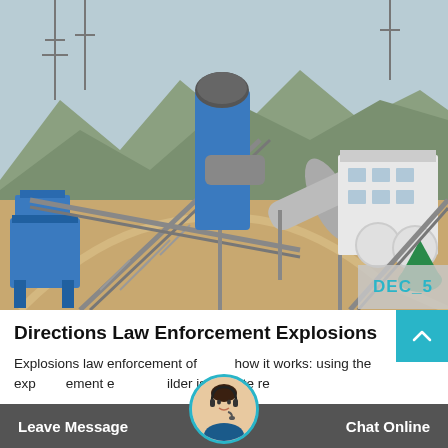[Figure (photo): Aerial view of an industrial mining or processing facility with blue steel structures, conveyor belts, cylindrical drums, machinery, and mountainous terrain in the background.]
DEC_5
Directions Law Enforcement Explosions
Explosions law enforcement of how it works: using the explosives law enforcement equipment builder is quite there
Leave Message
Chat Online